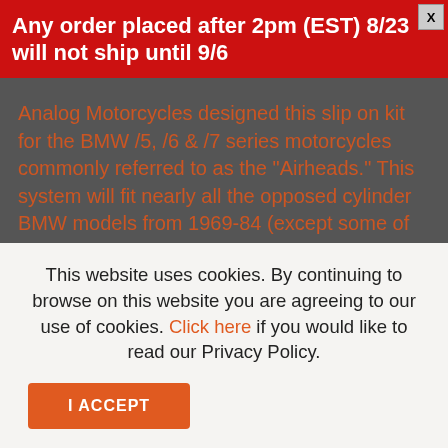Any order placed after 2pm (EST) 8/23 will not ship until 9/6
Analog Motorcycles designed this slip on kit for the BMW /5, /6 & /7 series motorcycles commonly referred to as the "Airheads." This system will fit nearly all the opposed cylinder BMW models from 1969-84 (except some of the "S" models). The 304 Stainless steel slip-on kit is manufactured in the USA by Cone Engineering. If you want to shed some weight and get rid of those big rusty stock mufflers, then this is the best solution out there. We have been customizing BMW Airheads for years and this kit is a classy compliment to your stock or custom machine. The
This website uses cookies. By continuing to browse on this website you are agreeing to our use of cookies. Click here if you would like to read our Privacy Policy.